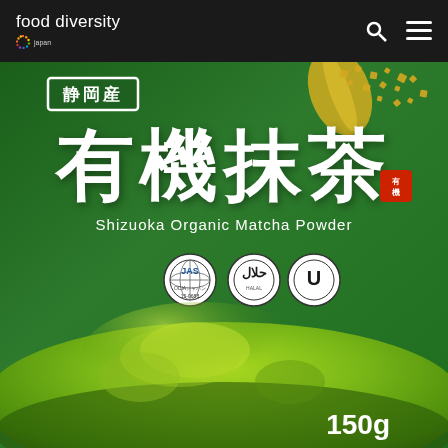food diversity
[Figure (photo): Product photo of Shizuoka Organic Matcha Powder (有機抹茶) green tea powder package, 150g. Green package with large white Japanese kanji characters, white border box with 静岡産 text, English subtitle 'Shizuoka Organic Matcha Powder', JAS organic, Halal, and OU Kosher certification logos, red seal stamp, gold leaf decoration, gold sparkles on dark green background, with pile of bright green matcha powder at the bottom.]